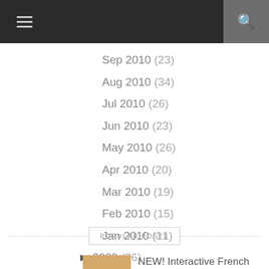Navigation bar with hamburger menu and search icon
Sep 2010 (23)
Aug 2010 (34)
Jul 2010 (26)
Jun 2010 (23)
May 2010 (26)
Apr 2010 (20)
Mar 2010 (19)
Feb 2010 (15)
Jan 2010 (11)
► 2009 (36)
► 2008 (11)
► 2006 (62)
POPULAR POSTS
NEW! Interactive French